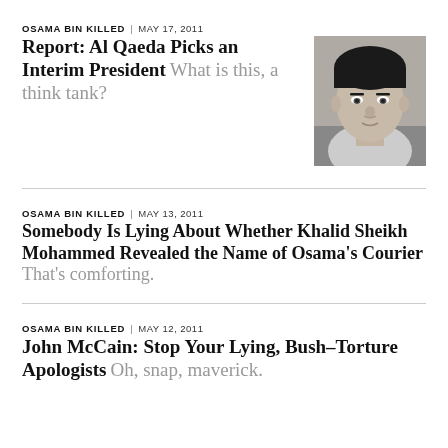OSAMA BIN KILLED | MAY 17, 2011
Report: Al Qaeda Picks an Interim President
What is this, a think tank?
[Figure (photo): Black and white headshot photo of a man]
OSAMA BIN KILLED | MAY 13, 2011
Somebody Is Lying About Whether Khalid Sheikh Mohammed Revealed the Name of Osama's Courier
That's comforting.
OSAMA BIN KILLED | MAY 12, 2011
John McCain: Stop Your Lying, Bush–Torture Apologists
Oh, snap, maverick.